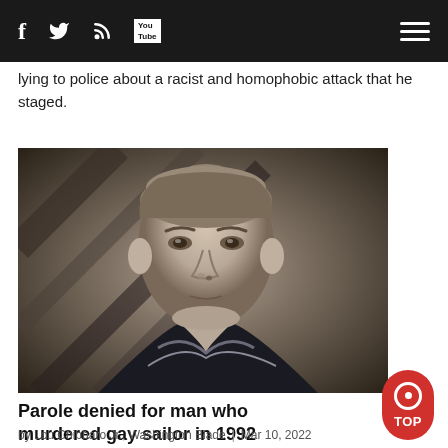Navigation bar with social icons: Facebook, Twitter, RSS, YouTube, and hamburger menu
lying to police about a racist and homophobic attack that he staged.
[Figure (photo): Black and white portrait photograph of a young man in what appears to be a naval uniform, with an American flag visible in the background.]
Parole denied for man who murdered gay sailor in 1992
by Lou Chibbaro Jr., Washington Blade | Mar 10, 2022